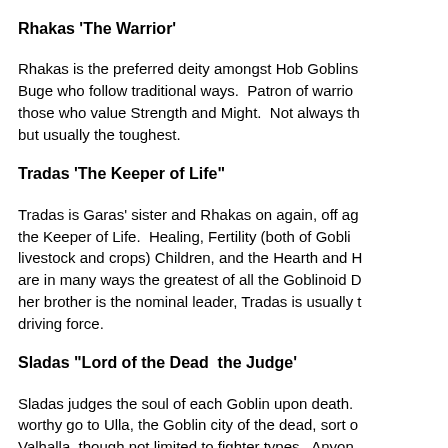Rhakas 'The Warrior'
Rhakas is the preferred deity amongst Hob Goblins and Buge who follow traditional ways.  Patron of warriors and those who value Strength and Might.  Not always the smartest but usually the toughest.
Tradas 'The Keeper of Life"
Tradas is Garas' sister and Rhakas on again, off again lover, the Keeper of Life.  Healing, Fertility (both of Goblin kind, livestock and crops) Children, and the Hearth and Home. She are in many ways the greatest of all the Goblinoid Deities, while her brother is the nominal leader, Tradas is usually the real driving force.
Sladas "Lord of the Dead  the Judge'
Sladas judges the soul of each Goblin upon death.  The worthy go to Ulla, the Goblin city of the dead, sort of like Valhalla, though not limited to fighter types.  Anyone who loved family, friends and allies' and who did not harm others (without need for this!) will spend eternity patying in the lush City ... those who are lacking, wander lost forever...  Sladas is Ga...